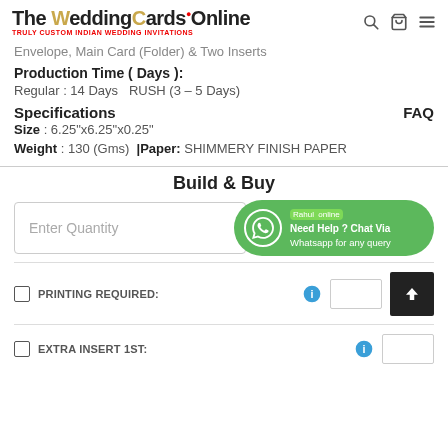The WeddingCardsOnline — TRULY CUSTOM INDIAN WEDDING INVITATIONS
Envelope, Main Card (Folder) & Two Inserts
Production Time ( Days ):
Regular : 14 Days   RUSH (3 – 5 Days)
Specifications
FAQ
Size : 6.25"x6.25"x0.25"
Weight : 130 (Gms) |Paper: SHIMMERY FINISH PAPER
Build & Buy
Enter Quantity
Rahul online
Need Help ? Chat Via Whatsapp for any query
PRINTING REQUIRED:
EXTRA INSERT 1ST: